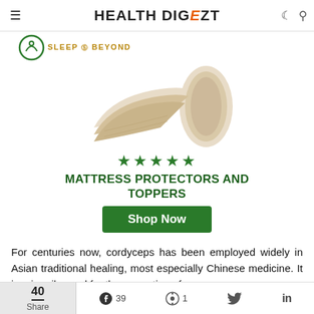HEALTH DIGEZT
[Figure (photo): Sleep & Beyond logo with a rolled cream/beige mattress topper product image, 5 green stars, text MATTRESS PROTECTORS AND TOPPERS, and a green Shop Now button]
For centuries now, cordyceps has been employed widely in Asian traditional healing, most especially Chinese medicine. It is primarily used for the promotion of...
40 Share  39  1  (Twitter)  in